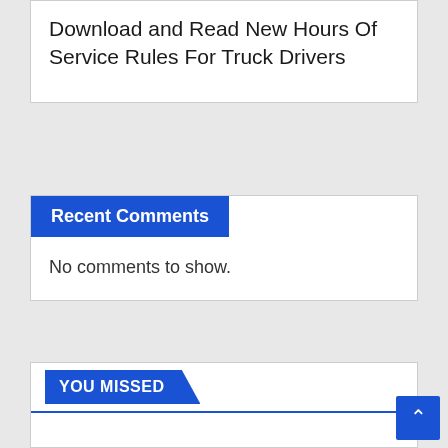Download and Read New Hours Of Service Rules For Truck Drivers
Recent Comments
No comments to show.
YOU MISSED